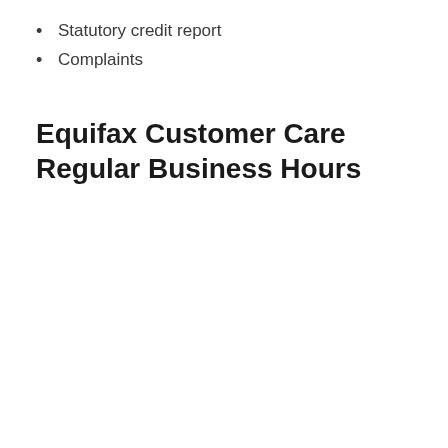Statutory credit report
Complaints
Equifax Customer Care Regular Business Hours